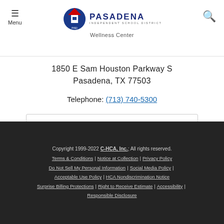Menu | Pasadena Independent School District Wellness Center | Search
1850 E Sam Houston Parkway S
Pasadena, TX 77503
Telephone: (713) 740-5300
Quick Links
Copyright 1999-2022 C-HCA, Inc.; All rights reserved. | Terms & Conditions | Notice at Collection | Privacy Policy | Do Not Sell My Personal Information | Social Media Policy | Acceptable Use Policy | HCA Nondiscrimination Notice | Surprise Billing Protections | Right to Receive Estimate | Accessibility | Responsible Disclosure